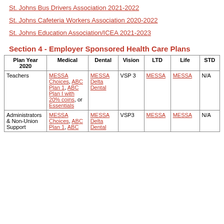St. Johns Bus Drivers Association 2021-2022
St. Johns Cafeteria Workers Association 2020-2022
St. Johns Education Association/ICEA 2021-2023
Section 4 - Employer Sponsored Health Care Plans
| Plan Year 2020 | Medical | Dental | Vision | LTD | Life | STD |
| --- | --- | --- | --- | --- | --- | --- |
| Teachers | MESSA Choices, ABC Plan 1, ABC Plan I with 20% coins, or Essentials | MESSA Delta Dental | VSP 3 | MESSA | MESSA | N/A |
| Administrators & Non-Union Support | MESSA Choices, ABC Plan 1, ABC... | MESSA Delta Dental | VSP3 | MESSA | MESSA | N/A |